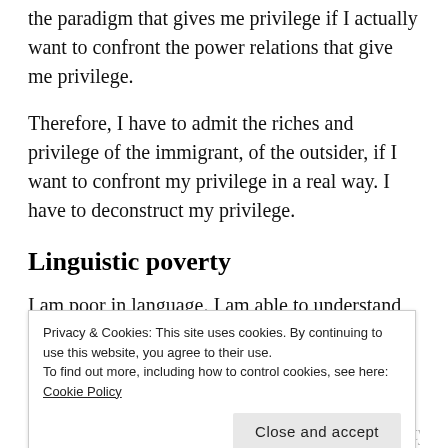the paradigm that gives me privilege if I actually want to confront the power relations that give me privilege.
Therefore, I have to admit the riches and privilege of the immigrant, of the outsider, if I want to confront my privilege in a real way. I have to deconstruct my privilege.
Linguistic poverty
I am poor in language. I am able to understand the
Privacy & Cookies: This site uses cookies. By continuing to use this website, you agree to their use.
To find out more, including how to control cookies, see here: Cookie Policy
place — while also understanding English. The typical